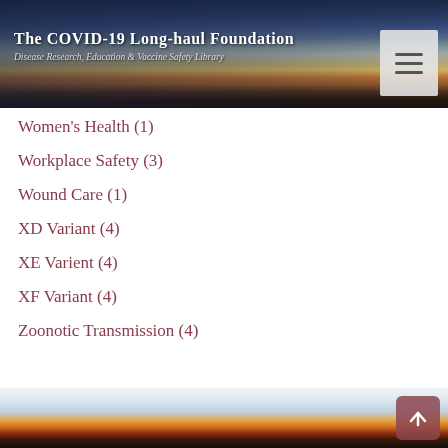The COVID-19 Long-haul Foundation — Disease Research, Education & Vaccine Safety Library
Women's Health (1)
Workplace Safety (3)
Wound Care (1)
XD Variant (4)
XE Varient (4)
XF Variant (4)
Zoonotic Transmission (4)